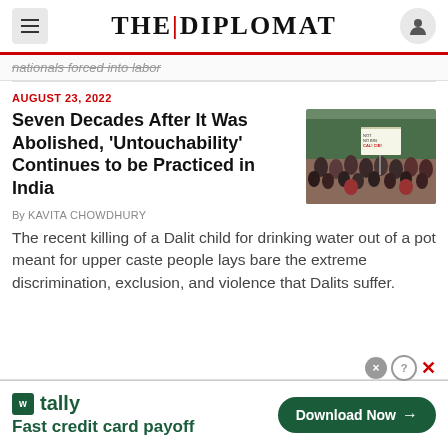THE DIPLOMAT
nationals forced into labor
AUGUST 23, 2022
Seven Decades After It Was Abolished, 'Untouchability' Continues to be Practiced in India
[Figure (photo): Protest crowd with signs, outdoor scene]
By KAVITA CHOWDHURY
The recent killing of a Dalit child for drinking water out of a pot meant for upper caste people lays bare the extreme discrimination, exclusion, and violence that Dalits suffer.
[Figure (infographic): Tally app advertisement: Fast credit card payoff. Download Now button.]